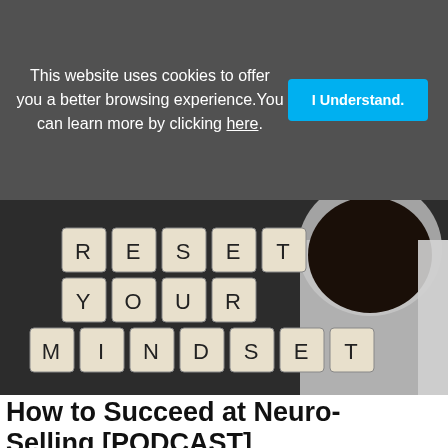This website uses cookies to offer you a better browsing experience. You can learn more by clicking here.
[Figure (photo): Dark background photo with wooden Scrabble tiles spelling RESET YOUR MINDSET in three rows on the left, and a glass mug filled with black coffee on the right.]
How to Succeed at Neuro-Selling [PODCAST]